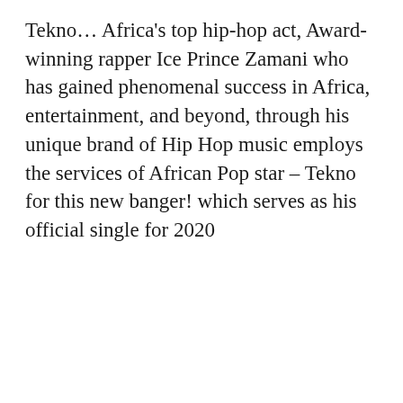Tekno… Africa's top hip-hop act, Award-winning rapper Ice Prince Zamani who has gained phenomenal success in Africa, entertainment, and beyond, through his unique brand of Hip Hop music employs the services of African Pop star – Tekno for this new banger! which serves as his official single for 2020